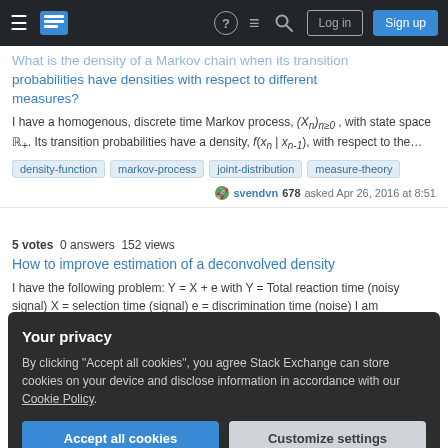Stack Exchange navigation bar with Log in and Sign up buttons
What is the density of a Markov chain when its transition probabilities have densities with respect to different measures?
I have a homogenous, discrete time Markov process, (X_n)_{n≥0}, with state space ℝ₊. Its transition probabilities have a density, f(x_n | x_{n-1}), with respect to the…
density-function
markov-process
joint-distribution
measure-theory
svendvn 678 asked Apr 26, 2016 at 8:51
5 votes  0 answers  152 views
How to improve estimation of a deconvolved density
I have the following problem: Y = X + e with Y = Total reaction time (noisy signal) X = selection time (signal) e = discrimination time (noise) I am interestend in the…
Your privacy
By clicking "Accept all cookies", you agree Stack Exchange can store cookies on your device and disclose information in accordance with our Cookie Policy.
Accept all cookies
Customize settings
Joint distribution of two distances